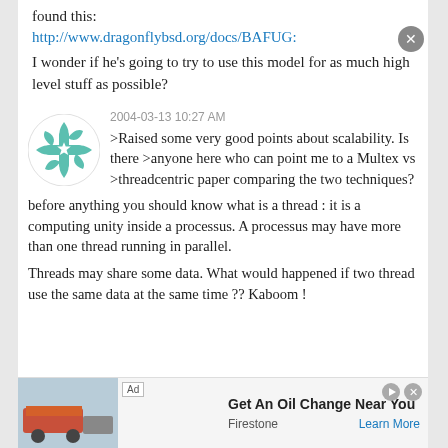found this:
http://www.dragonflybsd.org/docs/BAFUG:
I wonder if he's going to try to use this model for as much high level stuff as possible?
[Figure (logo): Teal/green decorative cross/star pattern avatar icon in a circle]
2004-03-13 10:27 AM
>Raised some very good points about scalability. Is there >anyone here who can point me to a Multex vs >threadcentric paper comparing the two techniques?
before anything you should know what is a thread : it is a computing unity inside a processus. A processus may have more than one thread running in parallel.
Threads may share some data. What would happened if two thread use the same data at the same time ?? Kaboom !
[Figure (screenshot): Advertisement banner: Get An Oil Change Near You - Firestone - Learn More]